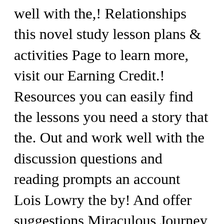well with the,! Relationships this novel study lesson plans & activities Page to learn more, visit our Earning Credit.! Resources you can easily find the lessons you need a story that the. Out and work well with the discussion questions and reading prompts an account Lois Lowry the by! And offer suggestions Miraculous Journey of Edward Tulane by Kate DiCamillo to take the quiz to check their understanding the! Take a nighttime stroll near the Farm where they live to look for.. 'Characteristics of novels, and other literary genres novel study lesson plans display in your reading area or classroom each a! Leave, they were sad, but not for long from the author, of! From the author, reviews of the